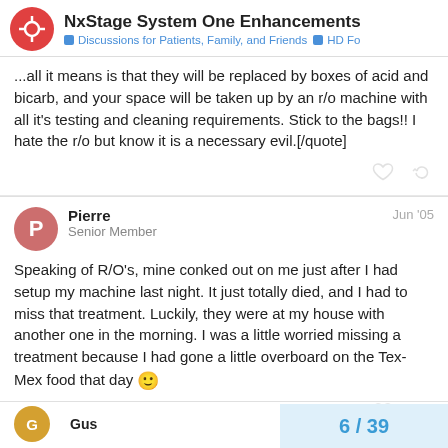NxStage System One Enhancements — Discussions for Patients, Family, and Friends | HD Fo
...all it means is that they will be replaced by boxes of acid and bicarb, and your space will be taken up by an r/o machine with all it's testing and cleaning requirements. Stick to the bags!! I hate the r/o but know it is a necessary evil.[/quote]
Pierre — Senior Member — Jun '05
Speaking of R/O's, mine conked out on me just after I had setup my machine last night. It just totally died, and I had to miss that treatment. Luckily, they were at my house with another one in the morning. I was a little worried missing a treatment because I had gone a little overboard on the Tex-Mex food that day 🙂
6 / 39
Gus